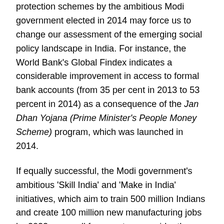protection schemes by the ambitious Modi government elected in 2014 may force us to change our assessment of the emerging social policy landscape in India. For instance, the World Bank's Global Findex indicates a considerable improvement in access to formal bank accounts (from 35 per cent in 2013 to 53 percent in 2014) as a consequence of the Jan Dhan Yojana (Prime Minister's People Money Scheme) program, which was launched in 2014.
If equally successful, the Modi government's ambitious 'Skill India' and 'Make in India' initiatives, which aim to train 500 million Indians and create 100 million new manufacturing jobs by 2022 may well force us to reconsider the Indian political economy altogether. It remains to be seen whether further extensions of the emerging Indian middle class – currently standing somewhere between 100-300 million depending on the exact measure used – together with an ever-